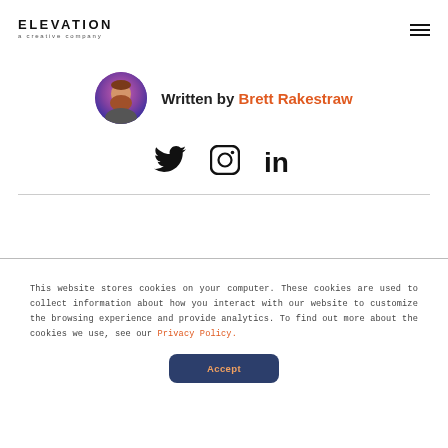ELEVATION a creative company
[Figure (logo): Elevation - a creative company logo with hamburger menu icon on the right]
Written by Brett Rakestraw
[Figure (photo): Author avatar photo of Brett Rakestraw]
[Figure (other): Social media icons: Twitter, Instagram, LinkedIn]
This website stores cookies on your computer. These cookies are used to collect information about how you interact with our website to customize the browsing experience and provide analytics. To find out more about the cookies we use, see our Privacy Policy.
Accept